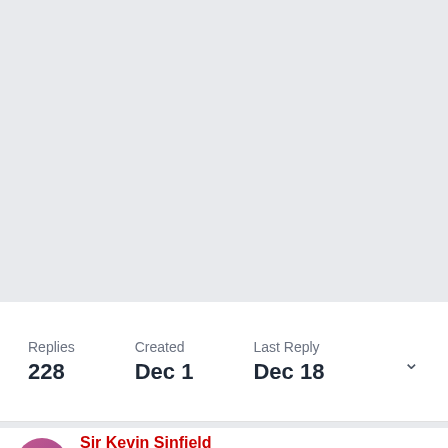[Figure (other): Large light gray empty area at the top of the page]
Replies
228
Created
Dec 1
Last Reply
Dec 18
Sir Kevin Sinfield
Posted December 3, 2021